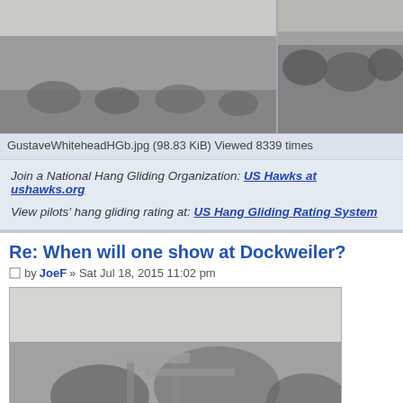[Figure (photo): Black and white historical photograph showing several people standing in a field with hay bales or similar objects on the ground. Left panel is wider; right panel shows rocky terrain with two people standing.]
GustaveWhiteheadHGb.jpg (98.83 KiB) Viewed 8339 times
Join a National Hang Gliding Organization: US Hawks at ushawks.org
View pilots' hang gliding rating at: US Hang Gliding Rating System
Re: When will one show at Dockweiler?
by JoeF » Sat Jul 18, 2015 11:02 pm
[Figure (photo): Black and white historical photograph showing an early aircraft or hang glider structure with trees in the background.]